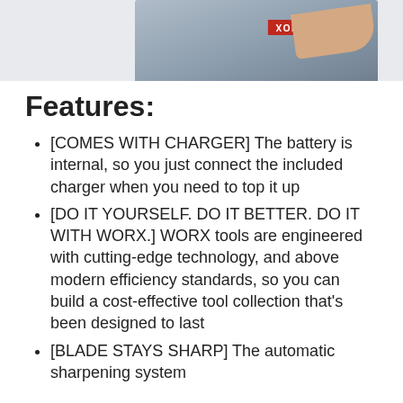[Figure (photo): Hand holding a card/device with a red TORINOX label, partially visible at the top of the page]
Features:
[COMES WITH CHARGER] The battery is internal, so you just connect the included charger when you need to top it up
[DO IT YOURSELF. DO IT BETTER. DO IT WITH WORX.] WORX tools are engineered with cutting-edge technology, and above modern efficiency standards, so you can build a cost-effective tool collection that’s been designed to last
[BLADE STAYS SHARP] The automatic sharpening system